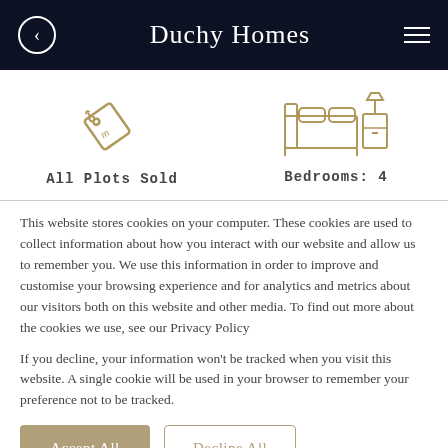Duchy Homes
[Figure (illustration): Price tag icon in gold/tan color]
All Plots Sold
[Figure (illustration): Bed and bedside table icon in gold/tan color]
Bedrooms: 4
This website stores cookies on your computer. These cookies are used to collect information about how you interact with our website and allow us to remember you. We use this information in order to improve and customise your browsing experience and for analytics and metrics about our visitors both on this website and other media. To find out more about the cookies we use, see our Privacy Policy
If you decline, your information won't be tracked when you visit this website. A single cookie will be used in your browser to remember your preference not to be tracked.
Accept All
Decline All